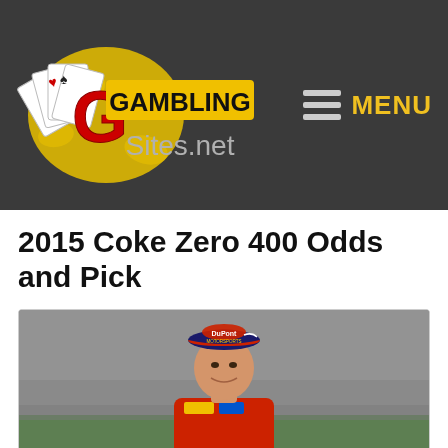[Figure (logo): GamblingSites.net logo with playing cards graphic and yellow/red branding on dark background]
[Figure (other): Hamburger menu icon with three horizontal lines next to yellow 'MENU' text]
2015 Coke Zero 400 Odds and Pick
[Figure (photo): NASCAR driver wearing a DuPont Motorsports cap (navy blue with red brim) smiling, photographed at a racetrack. Background shows blurred grandstands and green track infield.]